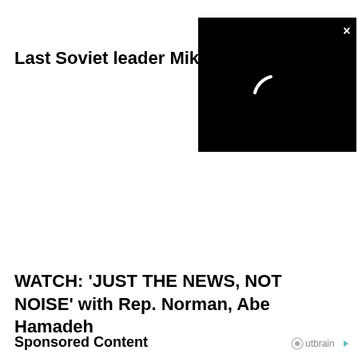Last Soviet leader Mikhail Go
[Figure (screenshot): Black video player overlay with a loading spinner arc in white, and a close (×) button in the top right corner]
WATCH: 'JUST THE NEWS, NOT NOISE' with Rep. Norman, Abe Hamadeh
Sponsored Content
Outbrain